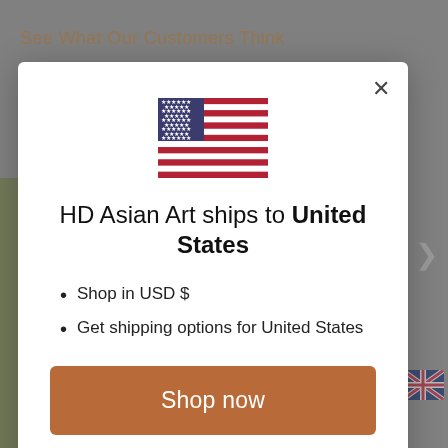See What Our Customers Think
[Figure (screenshot): Modal dialog with US flag, shipping info for United States, Shop now button, and Change shipping country link]
HD Asian Art ships to United States
Shop in USD $
Get shipping options for United States
Shop now
Change shipping country
An antique Java Style standing bro sculpture in the 13th century Majapanit style.